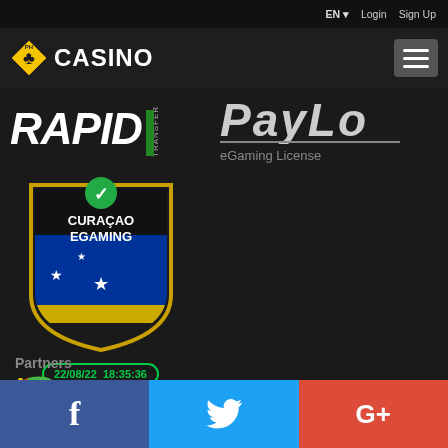EN  Login  Sign Up
[Figure (logo): PH Casino logo with spade/club icon and yellow diamond icon, white text CASINO]
[Figure (logo): RAPID TRANSFER logo in white italic text]
[Figure (logo): PayLo logo in white italic text]
eGaming License
[Figure (logo): Curacao eGaming shield badge with blue flag, gold border, green checkmark, date stamp 22/08/22 18:35:36]
Partners
[Figure (logo): JSoft Gaming logo with colorful J icon and white text soft Gaming]
f  (Twitter bird)  G+